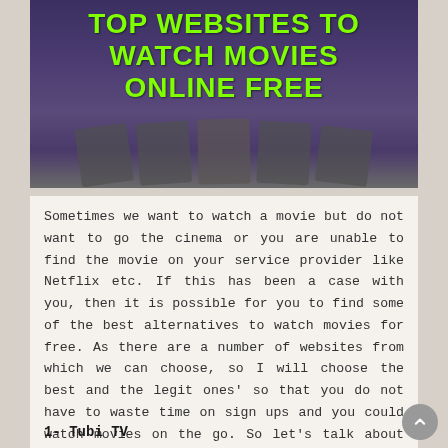[Figure (illustration): Banner image with dark purple background showing fanned-out film/movie cards at the bottom, with bold green text overlay reading 'TOP WEBSITES TO WATCH MOVIES ONLINE FREE']
Sometimes we want to watch a movie but do not want to go the cinema or you are unable to find the movie on your service provider like Netflix etc. If this has been a case with you, then it is possible for you to find some of the best alternatives to watch movies for free. As there are a number of websites from which we can choose, so I will choose the best and the legit ones' so that you do not have to waste time on sign ups and you could watch movies on the go. So let's talk about the 1 st site,
1- Tubi TV